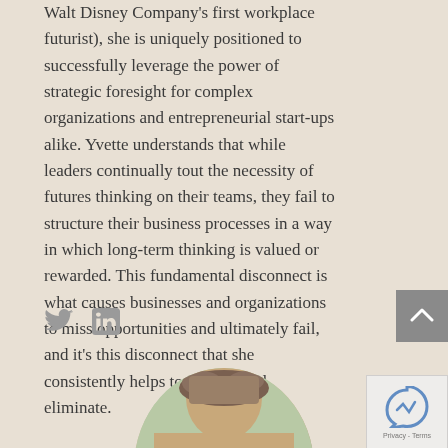Walt Disney Company's first workplace futurist), she is uniquely positioned to successfully leverage the power of strategic foresight for complex organizations and entrepreneurial start-ups alike. Yvette understands that while leaders continually tout the necessity of futures thinking on their teams, they fail to structure their business processes in a way in which long-term thinking is valued or rewarded. This fundamental disconnect is what causes businesses and organizations to miss opportunities and ultimately fail, and it's this disconnect that she consistently helps to address and eliminate.
[Figure (illustration): Twitter and LinkedIn social media icons]
[Figure (photo): Circular cropped headshot photo of a woman with brown hair, partially visible at bottom of page]
[Figure (other): reCAPTCHA widget with Privacy and Terms text, partially visible at bottom right]